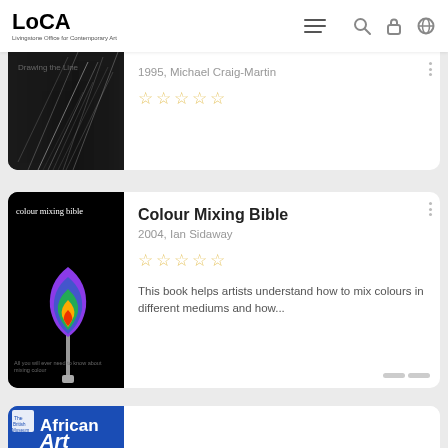LoCA — Livingstone Office for Contemporary Art
[Figure (screenshot): Partially visible book card: 1995 Michael Craig-Martin drawing, with rain/scratch lines on dark background. 5 empty star rating visible.]
[Figure (photo): Book cover: Colour Mixing Bible by Ian Sidaway, 2004. Black background with a paintbrush featuring rainbow-coloured bristles.]
Colour Mixing Bible
2004, Ian Sidaway
This book helps artists understand how to mix colours in different mediums and how...
[Figure (photo): Partially visible book cover: African Art, blue cover with The British Museum logo.]